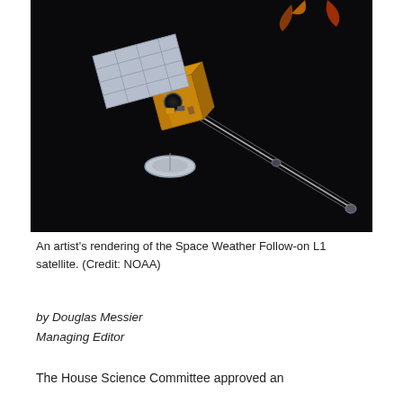[Figure (illustration): An artist's rendering of the Space Weather Follow-on L1 satellite against a dark space background with the Sun visible in the upper right corner showing solar activity. The satellite has a gold/bronze body with a large solar panel array and extends a long boom to the lower right.]
An artist's rendering of the Space Weather Follow-on L1 satellite. (Credit: NOAA)
by Douglas Messier
Managing Editor
The House Science Committee approved an